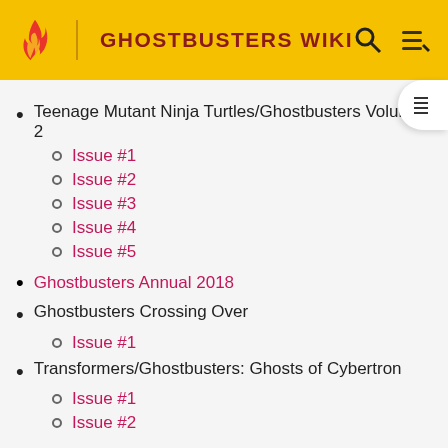GHOSTBUSTERS WIKI
Teenage Mutant Ninja Turtles/Ghostbusters Volume 2
Issue #1
Issue #2
Issue #3
Issue #4
Issue #5
Ghostbusters Annual 2018
Ghostbusters Crossing Over
Issue #1
Transformers/Ghostbusters: Ghosts of Cybertron
Issue #1
Issue #2